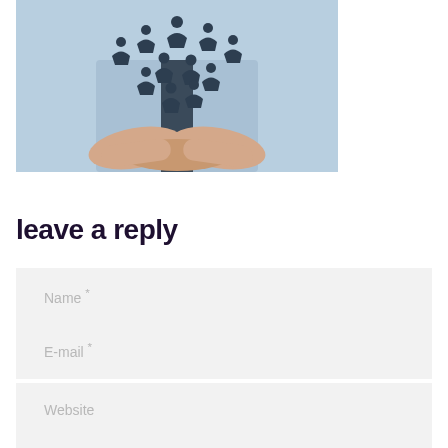[Figure (photo): Person in light blue blazer with cupped hands holding small human figure icons floating upward, symbolizing people management or community]
leave a reply
Name *
E-mail *
Website